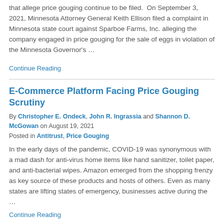that allege price gouging continue to be filed. On September 3, 2021, Minnesota Attorney General Keith Ellison filed a complaint in Minnesota state court against Sparboe Farms, Inc. alleging the company engaged in price gouging for the sale of eggs in violation of the Minnesota Governor's …
Continue Reading
E-Commerce Platform Facing Price Gouging Scrutiny
By Christopher E. Ondeck, John R. Ingrassia and Shannon D. McGowan on August 19, 2021
Posted in Antitrust, Price Gouging
In the early days of the pandemic, COVID-19 was synonymous with a mad dash for anti-virus home items like hand sanitizer, toilet paper, and anti-bacterial wipes. Amazon emerged from the shopping frenzy as key source of these products and hosts of others. Even as many states are lifting states of emergency, businesses active during the …
Continue Reading